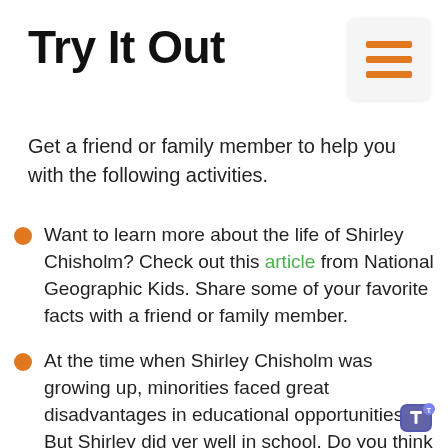Try It Out
[Figure (other): Hamburger menu icon with three orange horizontal bars on a light grey rounded square background]
Get a friend or family member to help you with the following activities.
Want to learn more about the life of Shirley Chisholm? Check out this article from National Geographic Kids. Share some of your favorite facts with a friend or family member.
At the time when Shirley Chisholm was growing up, minorities faced great disadvantages in educational opportunities. But Shirley did very well in school. Do you think education is important to have a successful life? Make a list of reasons why you think education is
[Figure (logo): Microsoft Teams logo icon, bottom right corner]